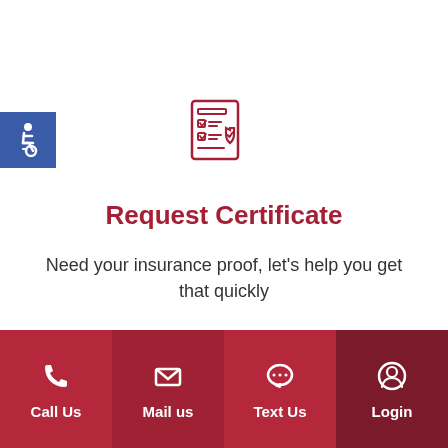[Figure (logo): Blue square with white wheelchair accessibility icon in top-left corner]
[Figure (illustration): Red outline icon of a document/checklist with a shield and checkmark, representing a certificate request]
Request Certificate
Need your insurance proof, let's help you get that quickly
Call Us | Mail us | Text Us | Login